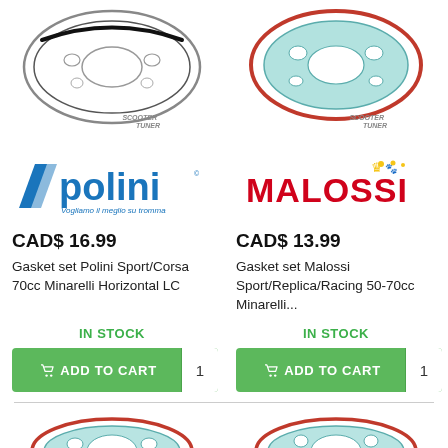[Figure (photo): Top-left: gasket set product image with Scooter Tuner watermark (grey/black gasket on white background)]
[Figure (photo): Top-right: gasket set product image with Scooter Tuner watermark (teal/green gasket with red o-ring on white background)]
[Figure (logo): Polini motori brand logo in blue]
[Figure (logo): Malossi brand logo in red and yellow]
CAD$ 16.99
CAD$ 13.99
Gasket set Polini Sport/Corsa 70cc Minarelli Horizontal LC
Gasket set Malossi Sport/Replica/Racing 50-70cc Minarelli...
IN STOCK
IN STOCK
ADD TO CART
ADD TO CART
[Figure (photo): Bottom-left: gasket set product image with red o-ring, teal gasket]
[Figure (photo): Bottom-right: gasket set product image with red o-ring, teal gasket]